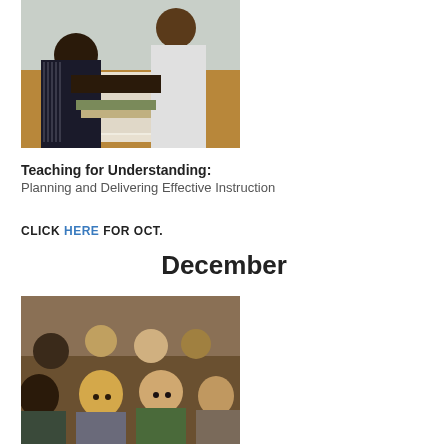[Figure (photo): Two people, one in a black and white patterned blouse, sitting at a desk covered with papers and books in a classroom setting with a whiteboard in the background.]
Teaching for Understanding:
Planning and Delivering Effective Instruction
CLICK HERE FOR OCT.
December
[Figure (photo): Group of young children seated and looking forward attentively in what appears to be a classroom or performance setting.]